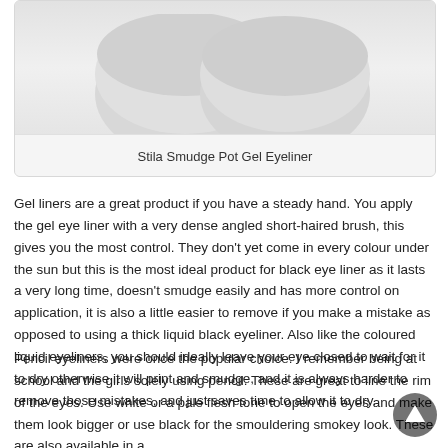[Figure (photo): Photo of Stila Smudge Pot Gel Eyeliner product containers viewed from above, showing rounded lids on a light grey background]
Stila Smudge Pot Gel Eyeliner
Gel liners are a great product if you have a steady hand. You apply the gel eye liner with a very dense angled short-haired brush, this gives you the most control. They don't yet come in every colour under the sun but this is the most ideal product for black eye liner as it lasts a very long time, doesn't smudge easily and has more control on application, it is also a little easier to remove if you make a mistake as opposed to using a thick liquid black eyeliner. Also like the coloured liquid eyeliners, you should ideally leave your eye closed to wait for it to dry otherwise it will print and smudge, and it is always harder to remove those mistakes, and just saves time to allow it to dry.
Pencil eyeliners were once the popular choice. I remember being at school and the girls solely using pencil. These are great to line the rim of the eyes. Use white or a pale flesh tone to open the eyes and make them look bigger or use black for the smouldering smokey look. These are also available in a